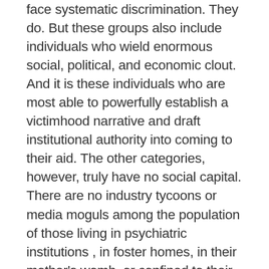face systematic discrimination. They do. But these groups also include individuals who wield enormous social, political, and economic clout. And it is these individuals who are most able to powerfully establish a victimhood narrative and draft institutional authority into coming to their aid. The other categories, however, truly have no social capital. There are no industry tycoons or media moguls among the population of those living in psychiatric institutions , in foster homes, in their mother's womb, or confined to their beds. And so it is no coincidence that the student who began the hunger strike at the University of Missouri comes from a prominent and extremely wealthy family.